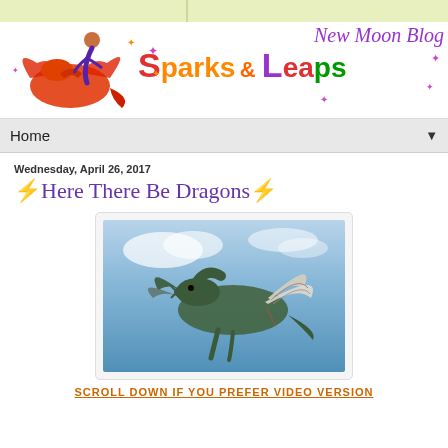Sparks & Leaps · New Moon Blog
Home ▼
Wednesday, April 26, 2017
⚡Here There Be Dragons⚡
[Figure (photo): A dragon flying through a blue sky with wings spread, dark scaled body with white/pale wing membranes]
SCROLL DOWN IF YOU PREFER VIDEO VERSION